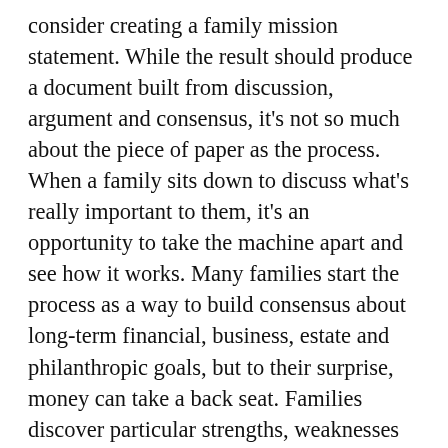consider creating a family mission statement. While the result should produce a document built from discussion, argument and consensus, it's not so much about the piece of paper as the process. When a family sits down to discuss what's really important to them, it's an opportunity to take the machine apart and see how it works. Many families start the process as a way to build consensus about long-term financial, business, estate and philanthropic goals, but to their surprise, money can take a back seat. Families discover particular strengths, weaknesses and unexpected courses of action within their ranks. The process might identify future leaders.
Trained financial advisers, such as certified financial planner professionals, can explain and guide the process. Some planners may be trained to facilitate